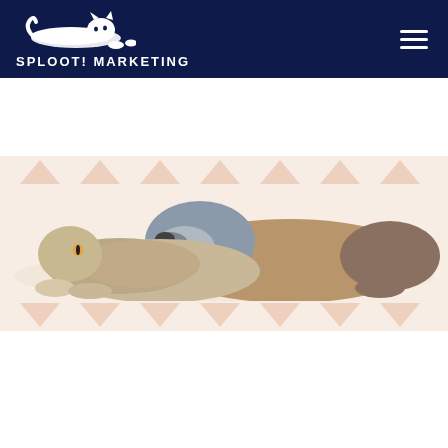SPLOOT! MARKETING
[Figure (photo): A cat and dog lying together. A fluffy tabby cat rests in the foreground while an Australian Shepherd dog rests its head on the cat's back. Decorative salmon/peach colored triangle pattern in background.]
Questions? Send Us an Email!
Name *
Email *